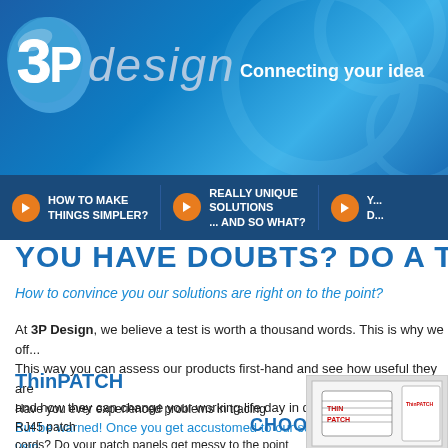[Figure (logo): 3P Design logo with blue 3P bubble icon and 'design' text, on blue gradient background with tagline 'Connecting your idea']
HOW TO MAKE THINGS SIMPLER? | REALLY UNIQUE SOLUTIONS ... AND SO WHAT? | Y... D...
YOU HAVE DOUBTS? DO A TEST!
How to convince you our solutions are right on to the point?
At 3P Design, we believe a test is worth a thousand words. This is why we off... This way you can assess our products first-hand and see how useful they are and how they can change your working life day in day out. But be warned! Once you get accustomed to our solutions, you can't stop usin...
CHOOSE YOU...
ThinPATCH
Have you ever experienced problems in tracing RJ45 patch cords? Do your patch panels get messy to the point of looking...